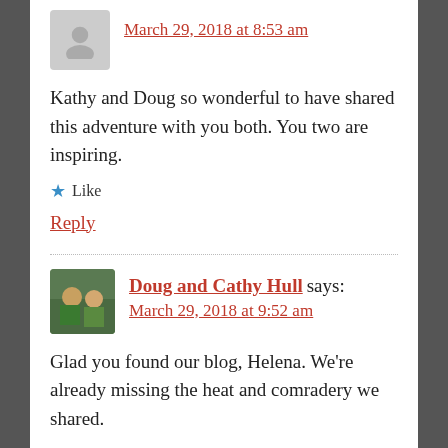March 29, 2018 at 8:53 am
Kathy and Doug so wonderful to have shared this adventure with you both. You two are inspiring.
★ Like
Reply
Doug and Cathy Hull says:
March 29, 2018 at 9:52 am
Glad you found our blog, Helena. We're already missing the heat and comradery we shared.